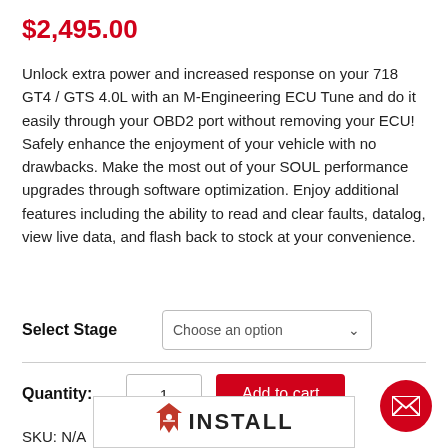$2,495.00
Unlock extra power and increased response on your 718 GT4 / GTS 4.0L with an M-Engineering ECU Tune and do it easily through your OBD2 port without removing your ECU! Safely enhance the enjoyment of your vehicle with no drawbacks. Make the most out of your SOUL performance upgrades through software optimization. Enjoy additional features including the ability to read and clear faults, datalog, view live data, and flash back to stock at your convenience.
Select Stage   Choose an option
Quantity:  1   Add to cart
SKU: N/A
[Figure (logo): INSTALL logo with maple leaf icon]